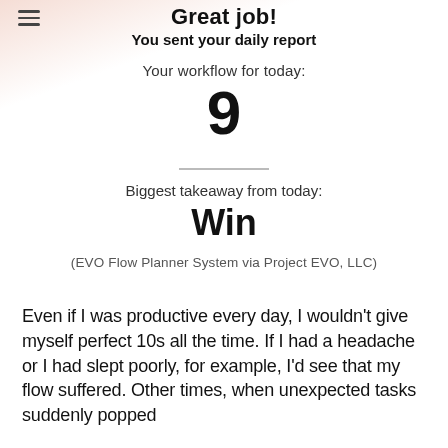Great job! You sent your daily report
Your workflow for today:
9
Biggest takeaway from today:
Win
(EVO Flow Planner System via Project EVO, LLC)
Even if I was productive every day, I wouldn't give myself perfect 10s all the time. If I had a headache or I had slept poorly, for example, I'd see that my flow suffered. Other times, when unexpected tasks suddenly popped